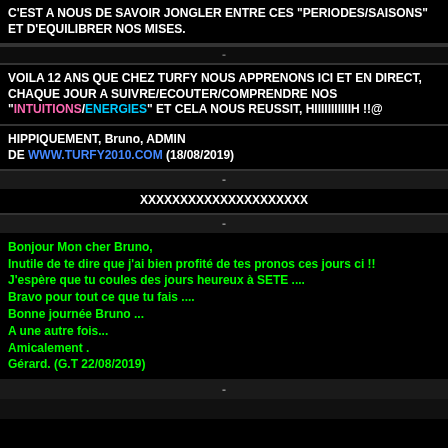C'EST A NOUS DE SAVOIR JONGLER ENTRE CES "PERIODES/SAISONS" ET D'EQUILIBRER NOS MISES.
VOILA 12 ANS QUE CHEZ TURFY NOUS APPRENONS ICI ET EN DIRECT, CHAQUE JOUR A SUIVRE/ECOUTER/COMPRENDRE NOS "INTUITIONS/ENERGIES" ET CELA NOUS REUSSIT, HIIIIIIIIIIIH !!@
HIPPIQUEMENT, Bruno, ADMIN
DE WWW.TURFY2010.COM (18/08/2019)
-
XXXXXXXXXXXXXXXXXXXXX
-
Bonjour Mon cher Bruno,
Inutile de te dire que j'ai bien profité de tes pronos ces jours ci !!
J'espère que tu coules des jours heureux à SETE ....
Bravo pour tout ce que tu fais ....
Bonne journée Bruno ...
A une autre fois...
Amicalement .
Gérard. (G.T 22/08/2019)
-